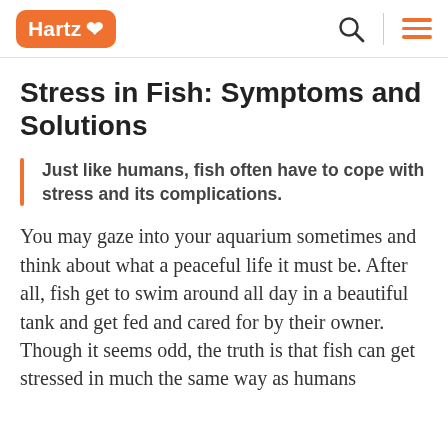Hartz
Stress in Fish: Symptoms and Solutions
Just like humans, fish often have to cope with stress and its complications.
You may gaze into your aquarium sometimes and think about what a peaceful life it must be. After all, fish get to swim around all day in a beautiful tank and get fed and cared for by their owner. Though it seems odd, the truth is that fish can get stressed in much the same way as humans